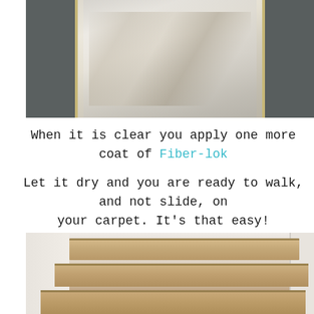[Figure (photo): Photo of a light-colored woven rug on a grey carpet, viewed from above, showing the rug's texture and pattern.]
When it is clear you apply one more coat of Fiber-lok
Let it dry and you are ready to walk, and not slide, on your carpet. It's that easy!
[Figure (photo): Photo of wooden stairs with dark brown stain, viewed from above at an angle, with white walls on either side.]